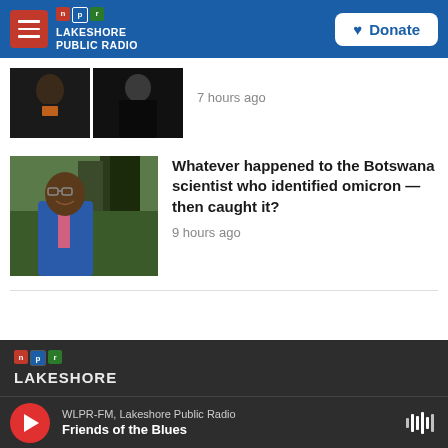npr | LAKESHORE PUBLIC RADIO
7 hours ago
Whatever happened to the Botswana scientist who identified omicron — then caught it?
9 hours ago
WLPR-FM, Lakeshore Public Radio | Friends of the Blues